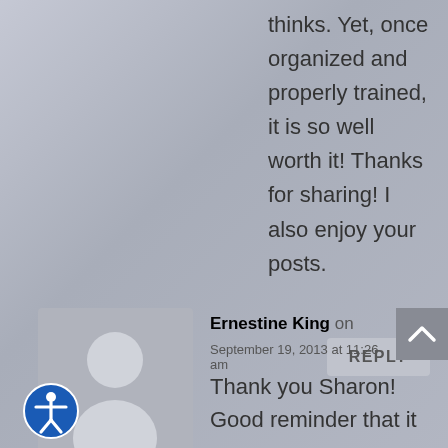thinks. Yet, once organized and properly trained, it is so well worth it! Thanks for sharing! I also enjoy your posts.
REPLY
[Figure (illustration): Default user avatar placeholder icon - gray silhouette of a person]
Ernestine King on
September 19, 2013 at 11:26 am
Thank you Sharon! Good reminder that it
[Figure (illustration): Scroll to top button with upward chevron arrow]
[Figure (illustration): Accessibility icon - person with arms outstretched in a circle]